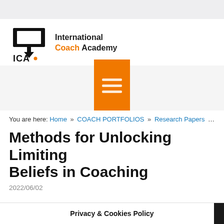[Figure (logo): International Coach Academy (ICA) logo with projector screen icon, black text and orange accent]
[Figure (other): Orange book/menu icon centered in gray navigation bar]
You are here: Home » COACH PORTFOLIOS » Research Papers » Met...
Methods for Unlocking Limiting Beliefs in Coaching
2022/06/02
This website uses cookies to improve your experience. We'll assume you're ok with this, but you can opt-out if you wish.
Privacy & Cookies Policy